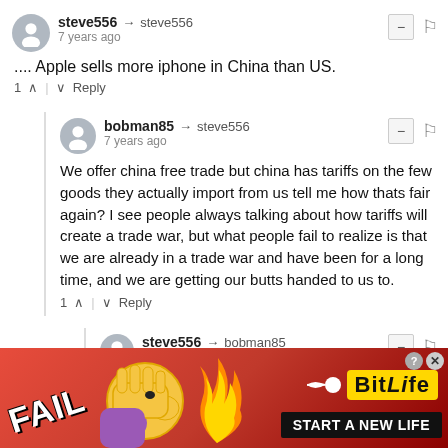steve556 → steve556
7 years ago
.... Apple sells more iphone in China than US.
1 ∧ | ∨ Reply
bobman85 → steve556
7 years ago
We offer china free trade but china has tariffs on the few goods they actually import from us tell me how thats fair again? I see people always talking about how tariffs will create a trade war, but what people fail to realize is that we are already in a trade war and have been for a long time, and we are getting our butts handed to us to.
1 ∧ | ∨ Reply
steve556 → bobman85
7 years ago
Exchanging paper money for real goods works to our
[Figure (infographic): BitLife advertisement banner with FAIL text, facepalm emoji, flame graphic, BitLife logo, and START A NEW LIFE text on red background]